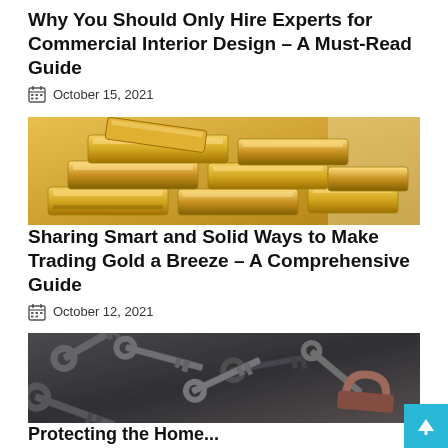Why You Should Only Hire Experts for Commercial Interior Design – A Must-Read Guide
October 15, 2021
[Figure (photo): Stacked gold bars/ingots photographed from above]
Sharing Smart and Solid Ways to Make Trading Gold a Breeze – A Comprehensive Guide
October 12, 2021
[Figure (photo): Pile of old rusty keys photographed from above]
Protecting the Home...